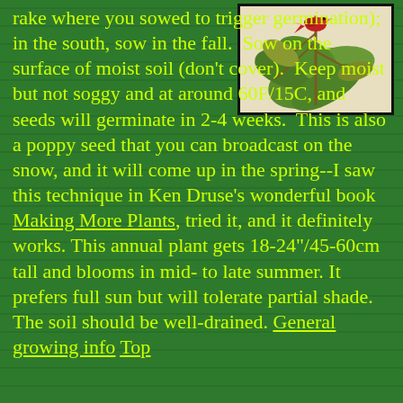[Figure (illustration): Botanical illustration of a plant with green leaves and a red bird or flower, on a cream/beige background, framed with a black border]
rake where you sowed to trigger germination); in the south, sow in the fall.  Sow on the surface of moist soil (don't cover).  Keep moist but not soggy and at around 60F/15C, and seeds will germinate in 2-4 weeks.  This is also a poppy seed that you can broadcast on the snow, and it will come up in the spring--I saw this technique in Ken Druse's wonderful book Making More Plants, tried it, and it definitely works. This annual plant gets 18-24"/45-60cm tall and blooms in mid- to late summer. It prefers full sun but will tolerate partial shade. The soil should be well-drained. General growing info Top